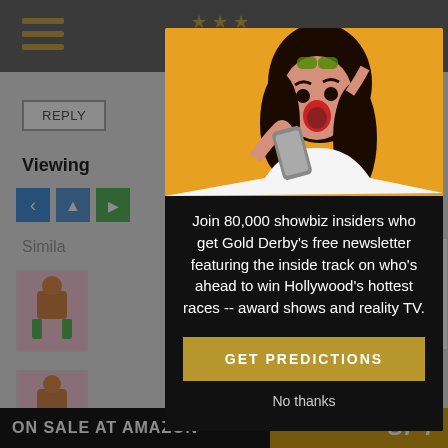[Figure (screenshot): Website background with grey top navigation bar, hamburger menu, REPLY button, 'Viewing' text, pagination icons, Similar section label, thumbnail images, and white card element]
[Figure (photo): Modal popup with photo of surprised woman looking at phone on yellow/orange background]
Join 80,000 showbiz insiders who get Gold Derby's free newsletter featuring the inside track on who's ahead to win Hollywood's hottest races -- award shows and reality TV.
GET PREDICTIONS
No thanks
ON SALE AT AMAZON
SPY